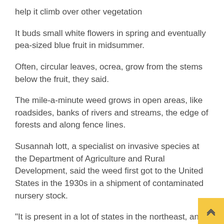help it climb over other vegetation
It buds small white flowers in spring and eventually pea-sized blue fruit in midsummer.
Often, circular leaves, ocrea, grow from the stems below the fruit, they said.
The mile-a-minute weed grows in open areas, like roadsides, banks of rivers and streams, the edge of forests and along fence lines.
Susannah lott, a specialist on invasive species at the Department of Agriculture and Rural Development, said the weed first got to the United States in the 1930s in a shipment of contaminated nursery stock.
“It is present in a lot of states in the northeast, and the...